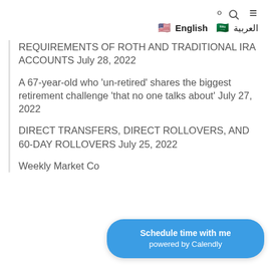🔍 ≡ 🇺🇸 English 🇸🇦 العربية
REQUIREMENTS OF ROTH AND TRADITIONAL IRA ACCOUNTS July 28, 2022
A 67-year-old who 'un-retired' shares the biggest retirement challenge 'that no one talks about' July 27, 2022
DIRECT TRANSFERS, DIRECT ROLLOVERS, AND 60-DAY ROLLOVERS July 25, 2022
Weekly Market Co... July ?, 2022
[Figure (other): Calendly scheduling button overlay: 'Schedule time with me powered by Calendly']